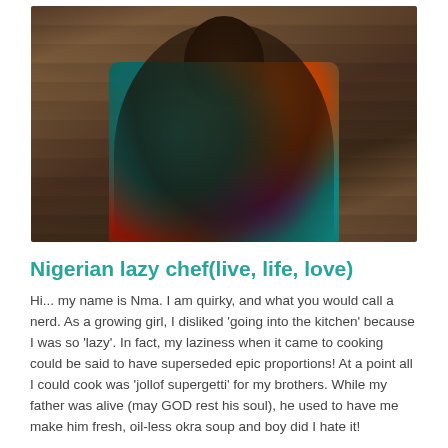[Figure (photo): A woman wearing a colorful African print (Ankara) dress in teal, orange, red, and purple floral pattern, seated leaning forward on a chair with arms crossed, against a wooden plank background. She has long braided hair and wears a bracelet.]
Nigerian lazy chef(live, life, love)
Hi... my name is Nma. I am quirky, and what you would call a nerd. As a growing girl, I disliked 'going into the kitchen' because I was so 'lazy'. In fact, my laziness when it came to cooking could be said to have superseded epic proportions! At a point all I could cook was 'jollof supergetti' for my brothers. While my father was alive (may GOD rest his soul), he used to have me make him fresh, oil-less okra soup and boy did I hate it! As they say, one day I ended falling in love with soup. And...